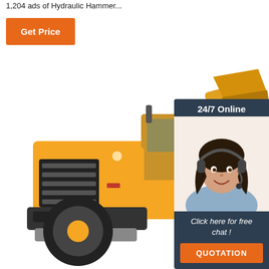1,204 ads of Hydraulic Hammer...
[Figure (other): Orange 'Get Price' button]
[Figure (photo): Yellow wheel loader / front-end loader construction vehicle on white background, with an overlay chat widget in the top-right corner showing '24/7 Online', a woman wearing a headset, text 'Click here for free chat !', and an orange 'QUOTATION' button on a dark navy background.]